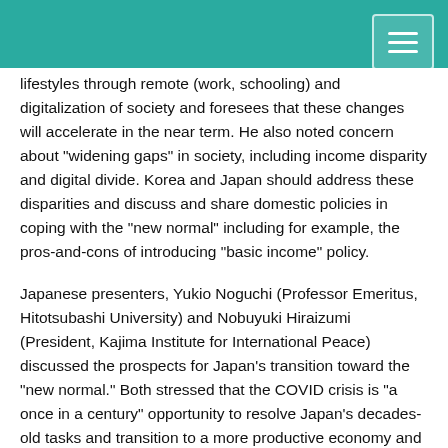lifestyles through remote (work, schooling) and digitalization of society and foresees that these changes will accelerate in the near term. He also noted concern about "widening gaps" in society, including income disparity and digital divide. Korea and Japan should address these disparities and discuss and share domestic policies in coping with the "new normal" including for example, the pros-and-cons of introducing "basic income" policy.
Japanese presenters, Yukio Noguchi (Professor Emeritus, Hitotsubashi University) and Nobuyuki Hiraizumi (President, Kajima Institute for International Peace) discussed the prospects for Japan's transition toward the "new normal." Both stressed that the COVID crisis is "a once in a century" opportunity to resolve Japan's decades-old tasks and transition to a more productive economy and society. Japan's shift to the "new normal" hinges on whether Japan can overcome its low productivity and old practices. Noguchi warned that Japan's low productivity, such as those in labor practices and e-commerce are still obstacles in the shift toward the "new normal." At the same time, there are signs of